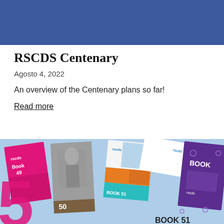[Figure (illustration): Blue banner/header bar at top of page]
RSCDS Centenary
Agosto 4, 2022
An overview of the Centenary plans so far!
Read more
[Figure (photo): Collection of RSCDS book covers fanned out against a light blue background, including Book 49 (pink cover), Book 50, Book 51, and a purple BOOK cover, along with several other publications]